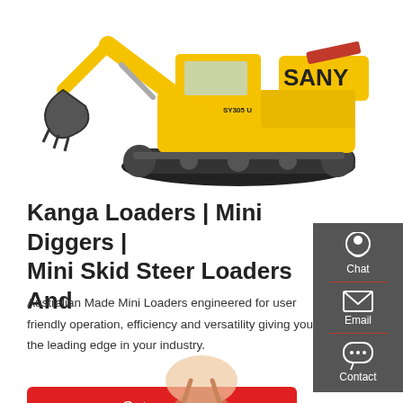[Figure (photo): Yellow SANY excavator (model SY305) on white background, top portion of the page]
Kanga Loaders | Mini Diggers | Mini Skid Steer Loaders And
Australian Made Mini Loaders engineered for user friendly operation, efficiency and versatility giving you the leading edge in your industry.
[Figure (infographic): Right sidebar with dark grey background showing Chat (headset icon), Email (envelope icon), and Contact (speech bubble icon) options]
Get a quote
[Figure (photo): Partial image at bottom of page showing a person or figure, cropped]